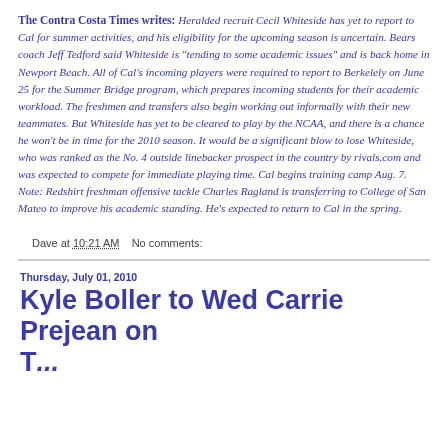The Contra Costa Times writes: Heralded recruit Cecil Whiteside has yet to report to Cal for summer activities, and his eligibility for the upcoming season is uncertain. Bears coach Jeff Tedford said Whiteside is "tending to some academic issues" and is back home in Newport Beach. All of Cal's incoming players were required to report to Berkelely on June 25 for the Summer Bridge program, which prepares incoming students for their academic workload. The freshmen and transfers also begin working out informally with their new teammates. But Whiteside has yet to be cleared to play by the NCAA, and there is a chance he won't be in time for the 2010 season. It would be a significant blow to lose Whiteside, who was ranked as the No. 4 outside linebacker prospect in the country by rivals.com and was expected to compete for immediate playing time. Cal begins training camp Aug. 7.  Note: Redshirt freshman offensive tackle Charles Ragland is transferring to College of San Mateo to improve his academic standing. He's expected to return to Cal in the spring.
Dave at 10:21 AM    No comments:
Thursday, July 01, 2010
Kyle Boller to Wed Carrie Prejean on